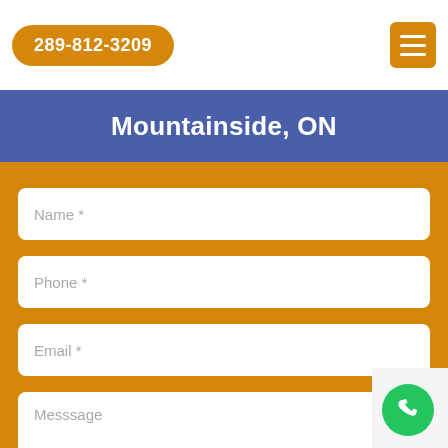289-812-3209
Mountainside, ON
Name *
Phone *
Email *
Messsage